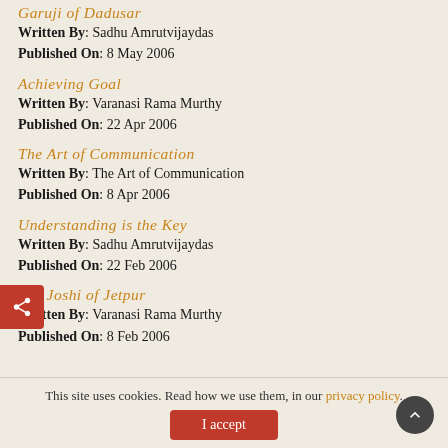Garuji of Dadusar
Written By: Sadhu Amrutvijaydas
Published On: 8 May 2006
Achieving Goal
Written By: Varanasi Rama Murthy
Published On: 22 Apr 2006
The Art of Communication
Written By: The Art of Communication
Published On: 8 Apr 2006
Understanding is the Key
Written By: Sadhu Amrutvijaydas
Published On: 22 Feb 2006
Jiva Joshi of Jetpur
Written By: Varanasi Rama Murthy
Published On: 8 Feb 2006
This site uses cookies. Read how we use them, in our privacy policy.